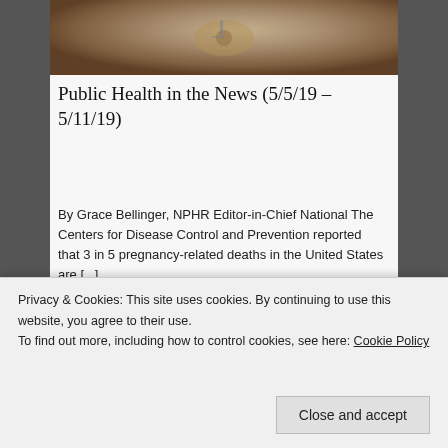[Figure (photo): Top portion of an article card showing a blurred food/dish photograph, partially cropped at top]
Public Health in the News (5/5/19 – 5/11/19)
By Grace Bellinger, NPHR Editor-in-Chief National The Centers for Disease Control and Prevention reported that 3 in 5 pregnancy-related deaths in the United States are [...]
May 13, 2019 // 0 Comments
[Figure (photo): Partial view of a second article card with colorful food/dish photograph]
Privacy & Cookies: This site uses cookies. By continuing to use this website, you agree to their use.
To find out more, including how to control cookies, see here: Cookie Policy
Close and accept